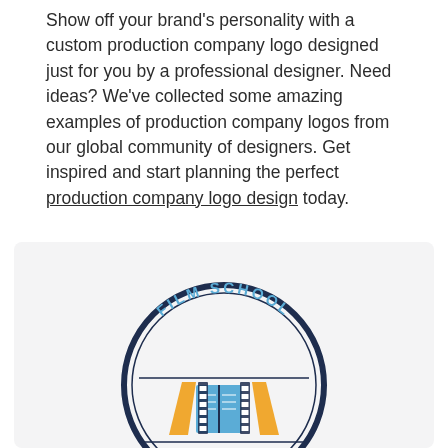Show off your brand's personality with a custom production company logo designed just for you by a professional designer. Need ideas? We've collected some amazing examples of production company logos from our global community of designers. Get inspired and start planning the perfect production company logo design today.
[Figure (logo): A circular badge-style logo for 'Film School' featuring a film reel, an open book in blue, and yellow/gold angular shapes, with a dark navy outer ring.]